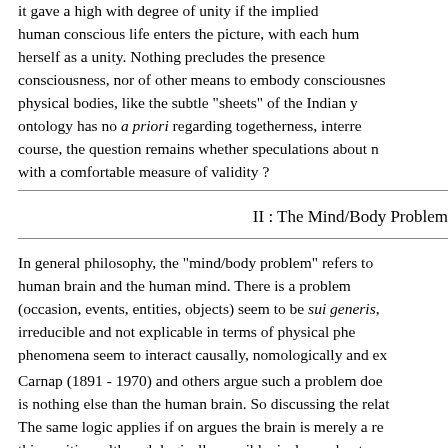it gave a high with degree of unity if the implied human conscious life enters the picture, with each hum herself as a unity. Nothing precludes the presence consciousness, nor of other means to embody consciousnes physical bodies, like the subtle "sheets" of the Indian y ontology has no a priori regarding togetherness, interre course, the question remains whether speculations about n with a comfortable measure of validity ?
II : The Mind/Body Problem
In general philosophy, the "mind/body problem" refers to human brain and the human mind. There is a problem (occasion, events, entities, objects) seem to be sui generis, irreducible and not explicable in terms of physical phe phenomena seem to interact causally, nomologically and ex
Carnap (1891 - 1970) and others argue such a problem doe is nothing else than the human brain. So discussing the relat The same logic applies if on argues the brain is merely a re this position, although logically possible, is deemed unten